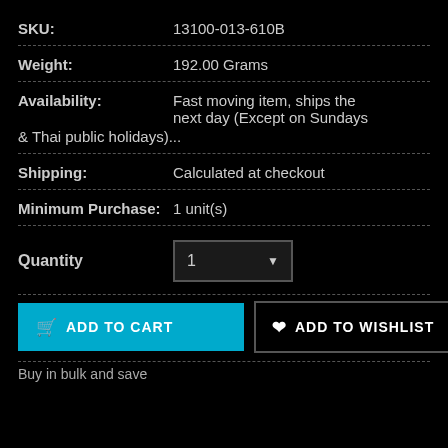SKU: 13100-013-610B
Weight: 192.00 Grams
Availability: Fast moving item, ships the next day (Except on Sundays & Thai public holidays)...
Shipping: Calculated at checkout
Minimum Purchase: 1 unit(s)
Quantity 1
ADD TO CART
ADD TO WISHLIST
Buy in bulk and save